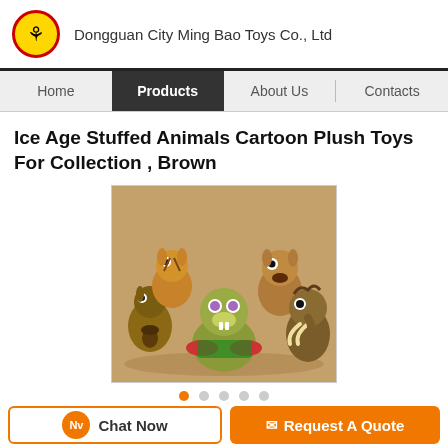Dongguan City Ming Bao Toys Co., Ltd
Ice Age Stuffed Animals Cartoon Plush Toys For Collection , Brown
[Figure (photo): Group of Ice Age cartoon character stuffed animal plush toys in brown colors arranged together]
Chat Now
Request A Quote